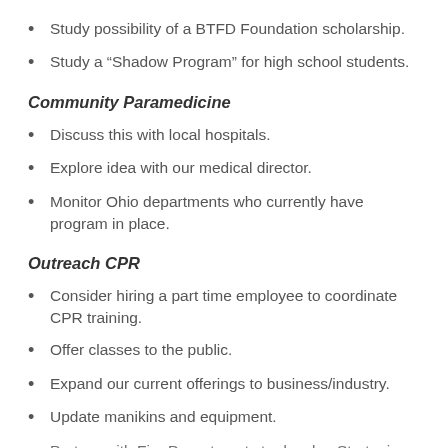Study possibility of a BTFD Foundation scholarship.
Study a “Shadow Program” for high school students.
Community Paramedicine
Discuss this with local hospitals.
Explore idea with our medical director.
Monitor Ohio departments who currently have program in place.
Outreach CPR
Consider hiring a part time employee to coordinate CPR training.
Offer classes to the public.
Expand our current offerings to business/industry.
Update manikins and equipment.
Partner with Fire Departments to develop Strategic Plan...